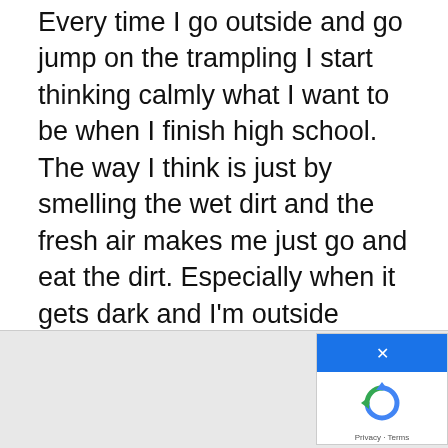Every time I go outside and go jump on the trampling I start thinking calmly what I want to be when I finish high school. The way I think is just by smelling the wet dirt and the fresh air makes me just go and eat the dirt. Especially when it gets dark and I'm outside jumping it feels so relaxing. I believe that just by being alone is the best way to think and when I start jumping I feel like I could just jump high enough to get a star just like I feel like if I'm jumping up for my dreams and hopes.
[Figure (screenshot): reCAPTCHA widget with a blue close button (×) in the top-right corner and the reCAPTCHA logo below, with 'Privacy · Terms' text at the bottom, displayed over a grey footer area.]